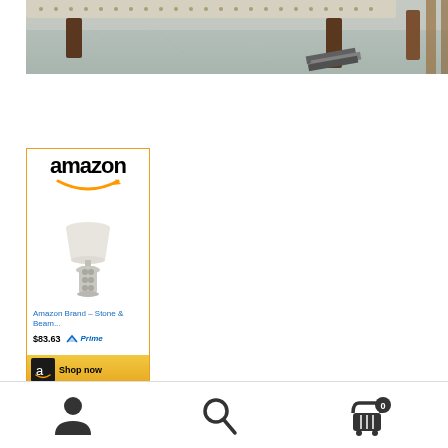[Figure (photo): Top portion of a living room scene showing a beige upholstered sofa with nailhead trim, dark wood legs, a light blue/grey abstract area rug, and some magazines or books on the floor]
[Figure (other): Amazon advertisement card showing the Amazon logo with smile, a decorative table lamp (Stone & Beam brand) with a cylindrical shade and ornate base, priced at $83.63 with Prime badge, and a 'Shop now' button]
[Figure (other): Bottom navigation bar with three icons: user/account icon on the left, search/magnifying glass in the center, and shopping cart with badge showing 0 on the right]